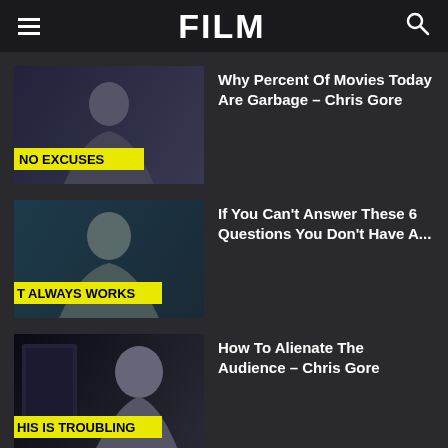FILM
[Figure (photo): Video thumbnail showing a man with 'NO EXCUSES' yellow label text overlay]
Why Percent Of Movies Today Are Garbage – Chris Gore
[Figure (photo): Video thumbnail showing a man with 'T ALWAYS WORKS' yellow label text overlay]
If You Can't Answer These 6 Questions You Don't Have A...
[Figure (photo): Video thumbnail showing a man with 'HIS IS TROUBLING' yellow label text overlay]
How To Alienate The Audience – Chris Gore
POPULAR CATEGORY
Video                                                    4000